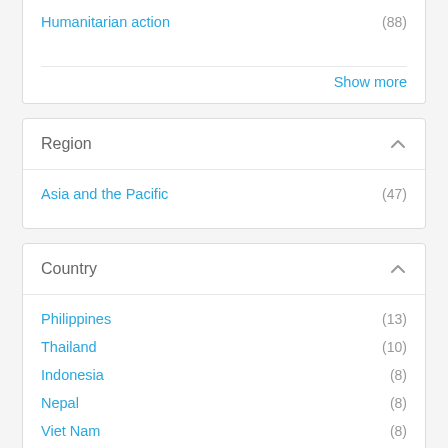Humanitarian action (88)
Show more
Region
Asia and the Pacific (47)
Country
Philippines (13)
Thailand (10)
Indonesia (8)
Nepal (8)
Viet Nam (8)
India (7)
Bangladesh (6)
Cambodia (6)